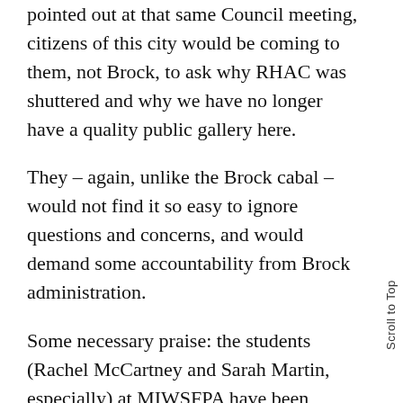pointed out at that same Council meeting, citizens of this city would be coming to them, not Brock, to ask why RHAC was shuttered and why we have no longer have a quality public gallery here.
They – again, unlike the Brock cabal – would not find it so easy to ignore questions and concerns, and would demand some accountability from Brock administration.
Some necessary praise: the students (Rachel McCartney and Sarah Martin, especially) at MIWSFPA have been amazing, in both protesting and making their voices heard, and not being interested in the refusal – whether ideological or ju ignorance – on the part of said cabal to not take